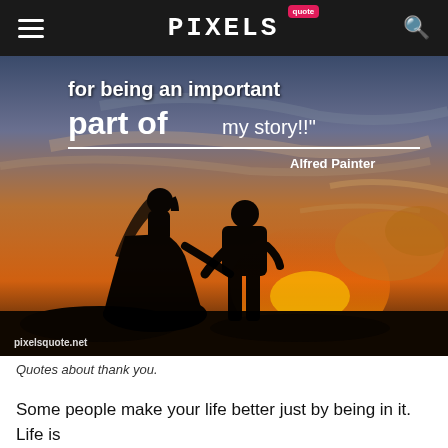PIXELS quote — navigation bar with hamburger menu and search icon
[Figure (photo): Quote image over sunset photo with silhouettes of a bride and groom holding hands. Text overlay reads: 'for being an important part of my story!!' — Alfred Painter. Watermark: pixelsquote.net]
Quotes about thank you.
Some people make your life better just by being in it. Life is